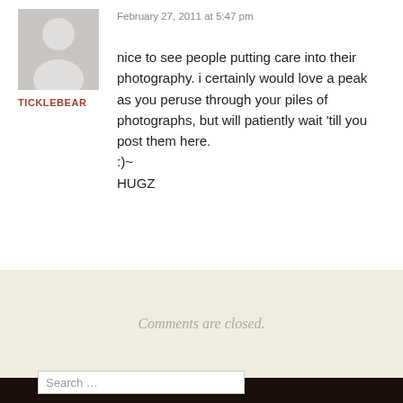[Figure (illustration): Generic user avatar placeholder — gray silhouette of a person on a light gray background]
TICKLEBEAR
February 27, 2011 at 5:47 pm
nice to see people putting care into their photography. i certainly would love a peak as you peruse through your piles of photographs, but will patiently wait 'till you post them here.
:)~
HUGZ
Comments are closed.
Search …